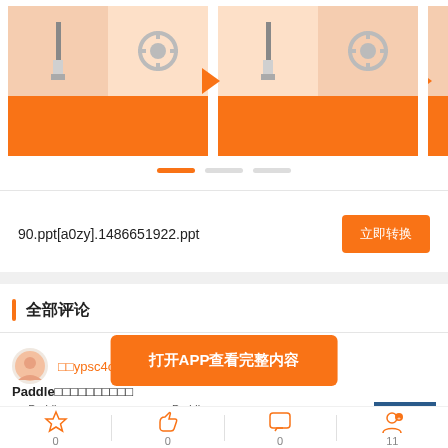[Figure (screenshot): Three banner cards with orange/peach checkerboard pattern featuring paint brush and gear icons, with orange bottom bars and orange arrow indicators. A carousel/slider interface.]
90.ppt[a0zy].1486651922.ppt
立即转换
全部评论
[Figure (screenshot): App overlay CTA button: 打开APP查看完整内容]
□□ypsc4o6fmy
Paddle□□□□□□□□□□
□□ Paddle□□□□□□ □□□□□□□□□□Paddle□□□□□□□□□□□□
[Figure (photo): Small thumbnail image of a document or interface screenshot]
0
0
0
11